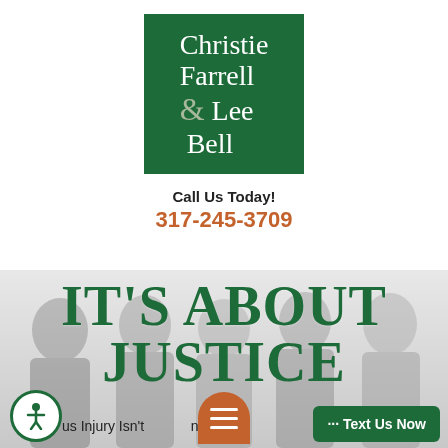[Figure (logo): Christie Farrell Lee & Bell law firm logo — dark green square with white serif text reading 'Christie Farrell & Lee & Bell' with a large grey ampersand]
Call Us Today!
317-245-3709
[Figure (photo): Group photo of law firm attorneys in professional attire, rendered in greyscale/desaturated as hero background image]
IT'S ABOUT JUSTICE
us Injury Isn't  ning W...
··· Text Us Now